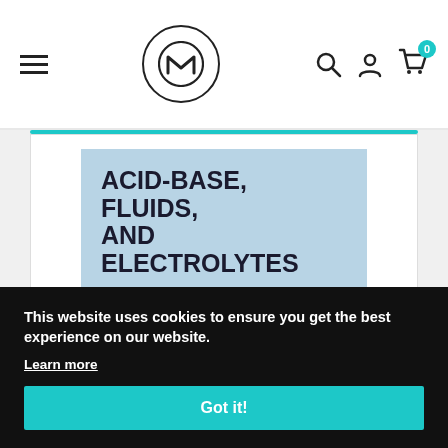Website navigation bar with hamburger menu, MedMaster logo, search icon, account icon, and cart icon with badge 0
[Figure (photo): Book cover for 'Acid-Base, Fluids, and Electrolytes made ridiculously simple, Edition 3' shown on a light blue background]
This website uses cookies to ensure you get the best experience on our website.
Learn more
Got it!